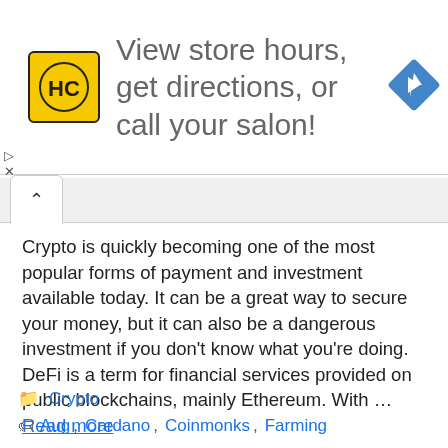[Figure (screenshot): Advertisement banner: HC (HairClub) logo in yellow square, text 'View store hours, get directions, or call your salon!', blue navigation diamond icon on right]
Crypto is quickly becoming one of the most popular forms of payment and investment available today. It can be a great way to secure your money, but it can also be a dangerous investment if you don't know what you're doing. DeFi is a term for financial services provided on public blockchains, mainly Ethereum. With … Read more
Crypto
Aug, Cardano, Coinmonks, Farming